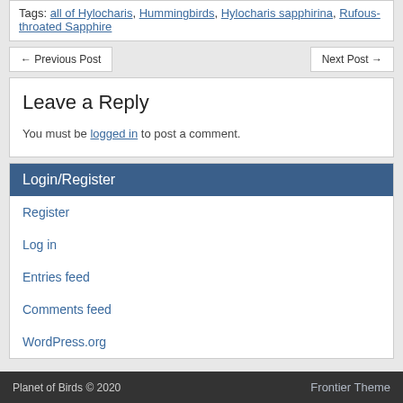Tags: all of Hylocharis, Hummingbirds, Hylocharis sapphirina, Rufous-throated Sapphire
← Previous Post    Next Post →
Leave a Reply
You must be logged in to post a comment.
Login/Register
Register
Log in
Entries feed
Comments feed
WordPress.org
Planet of Birds © 2020    Frontier Theme